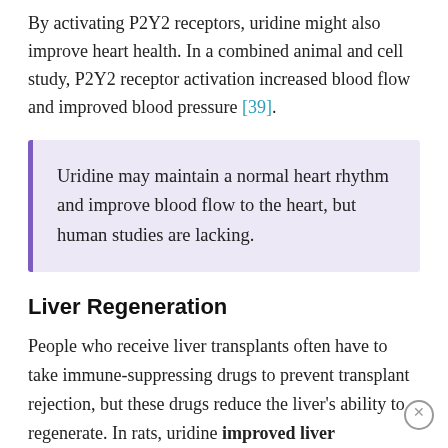By activating P2Y2 receptors, uridine might also improve heart health. In a combined animal and cell study, P2Y2 receptor activation increased blood flow and improved blood pressure [39].
Uridine may maintain a normal heart rhythm and improve blood flow to the heart, but human studies are lacking.
Liver Regeneration
People who receive liver transplants often have to take immune-suppressing drugs to prevent transplant rejection, but these drugs reduce the liver's ability to regenerate. In rats, uridine improved liver regeneration after liver transplants. It completely restored normal liver growth [40].